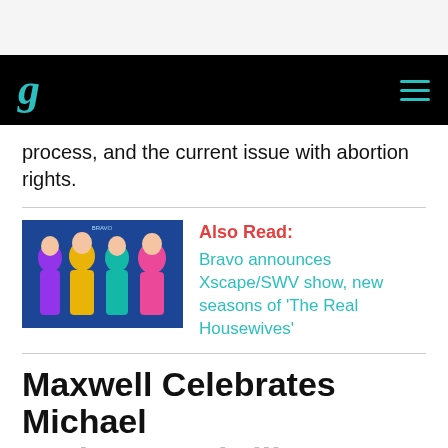g
process, and the current issue with abortion rights.
[Figure (photo): Group photo of four women in colorful outfits posing at what appears to be a promotional event with a blue backdrop.]
Also Read:
Bravo announces Xscape/SWV show, new seasons of 'The Real Housewives'
Maxwell Celebrates Michael Jackson's Thriller